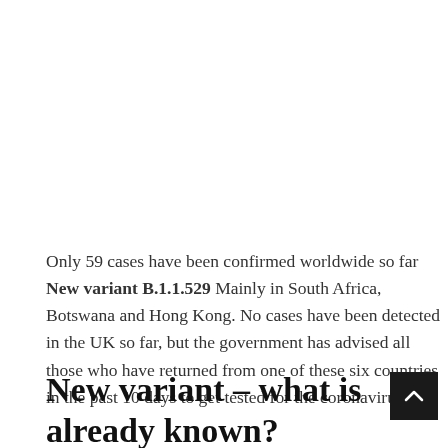Only 59 cases have been confirmed worldwide so far New variant B.1.1.529 Mainly in South Africa, Botswana and Hong Kong. No cases have been detected in the UK so far, but the government has advised all those who have returned from one of these six countries in the past 10 days to get tested for the coronavirus.
New variant – what is already known?